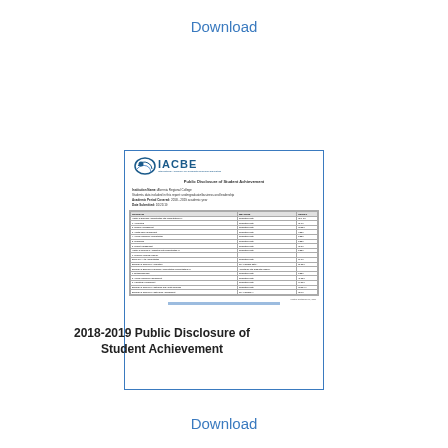Download
[Figure (screenshot): Thumbnail preview of IACBE 2018-2019 Public Disclosure of Student Achievement document showing IACBE logo, institution name 'Alvernia Regional College', academic period, date submitted, and a table of programs with graduation rates and results.]
2018-2019 Public Disclosure of Student Achievement
Download